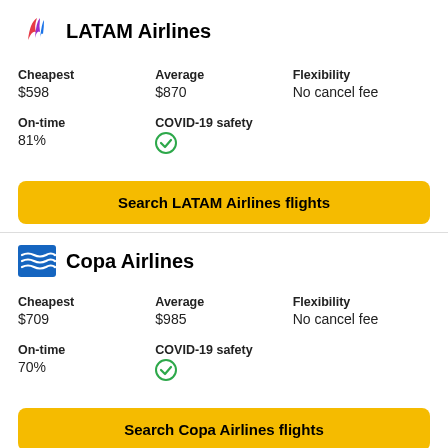[Figure (logo): LATAM Airlines logo]
LATAM Airlines
| Cheapest | Average | Flexibility |
| --- | --- | --- |
| $598 | $870 | No cancel fee |
| On-time | COVID-19 safety |
| --- | --- |
| 81% | ✓ |
Search LATAM Airlines flights
[Figure (logo): Copa Airlines logo]
Copa Airlines
| Cheapest | Average | Flexibility |
| --- | --- | --- |
| $709 | $985 | No cancel fee |
| On-time | COVID-19 safety |
| --- | --- |
| 70% | ✓ |
Search Copa Airlines flights
[Figure (logo): Third airline logo (partially visible)]